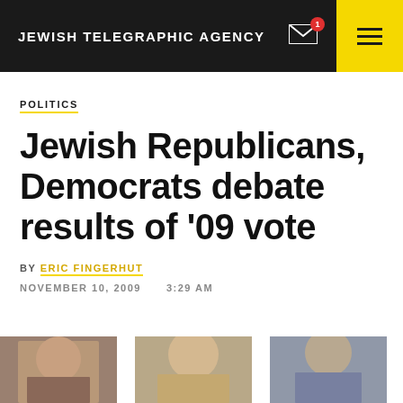JEWISH TELEGRAPHIC AGENCY
POLITICS
Jewish Republicans, Democrats debate results of '09 vote
BY ERIC FINGERHUT
NOVEMBER 10, 2009   3:29 AM
[Figure (photo): Three portrait photos of individuals, partially visible at bottom of page]